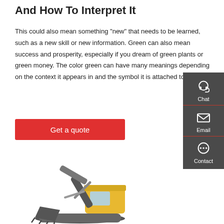And How To Interpret It
This could also mean something "new" that needs to be learned, such as a new skill or new information. Green can also mean success and prosperity, especially if you dream of green plants or green money. The color green can have many meanings depending on the context it appears in and the symbol it is attached to.
[Figure (screenshot): Red button labeled 'Get a quote']
[Figure (screenshot): Dark sidebar with Chat (headset icon), Email (envelope icon), and Contact (speech bubble icon) options]
[Figure (photo): Yellow and grey excavator construction machine]